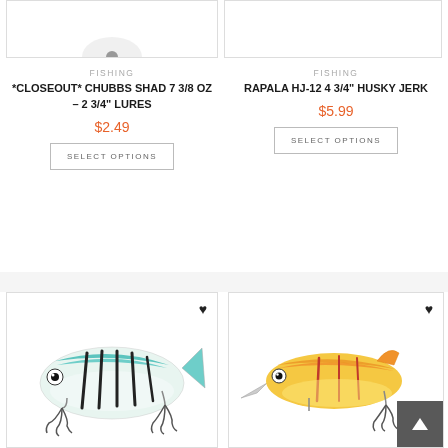[Figure (photo): Cropped top of fishing lure product image (top portion only visible)]
[Figure (photo): Cropped top of Rapala HJ-12 fishing lure product image (top portion only visible)]
FISHING
*CLOSEOUT* CHUBBS SHAD 7 3/8 OZ – 2 3/4" LURES
$2.49
SELECT OPTIONS
FISHING
RAPALA HJ-12 4 3/4" HUSKY JERK
$5.99
SELECT OPTIONS
[Figure (photo): Blue and white striped fishing lure (vibration bait) with black stripes and treble hooks]
[Figure (photo): Orange and yellow fishing lure (crankbait) with red stripes and treble hook]